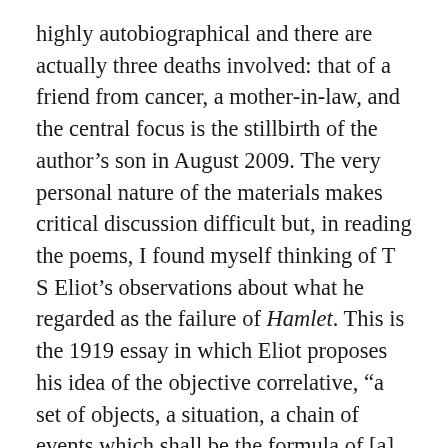highly autobiographical and there are actually three deaths involved: that of a friend from cancer, a mother-in-law, and the central focus is the stillbirth of the author's son in August 2009. The very personal nature of the materials makes critical discussion difficult but, in reading the poems, I found myself thinking of T S Eliot's observations about what he regarded as the failure of Hamlet. This is the 1919 essay in which Eliot proposes his idea of the objective correlative, “a set of objects, a situation, a chain of events which shall be the formula of [a] particular emotion”. The emotion is re-evoked in the reader when the objective correlative is supplied by the writer. But Eliot argues Shakespeare could never quite unearth or